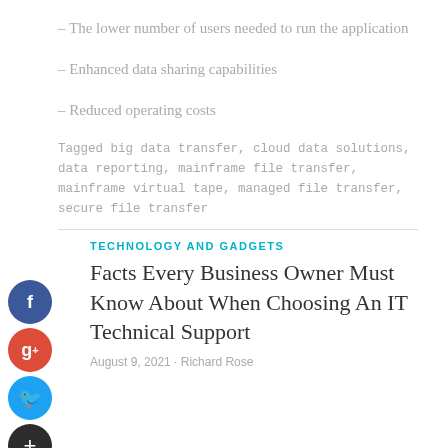– The lower number of users needed to run the application
– Enhanced data sharing capabilities
– Reduced operating costs
Tagged big data transfer, cloud data solutions, data reporting, mainframe file transfer, mainframe virtual tape, managed file transfer, secure file transfer
TECHNOLOGY AND GADGETS
Facts Every Business Owner Must Know About When Choosing An IT Technical Support
August 9, 2021 · Richard Rose